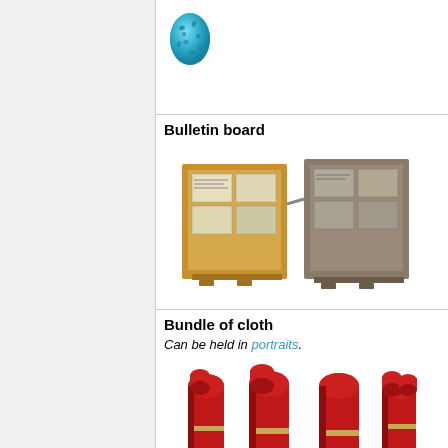[Figure (illustration): A blue speckled dragon egg item icon]
Bulletin board
[Figure (illustration): Two bulletin boards open showing papers/notices pinned to them, isometric game sprites]
Bundle of cloth
Can be held in portraits.
[Figure (illustration): Four bundles of red rolled cloth bolts tied with rope, isometric game sprites]
Bungleton egg